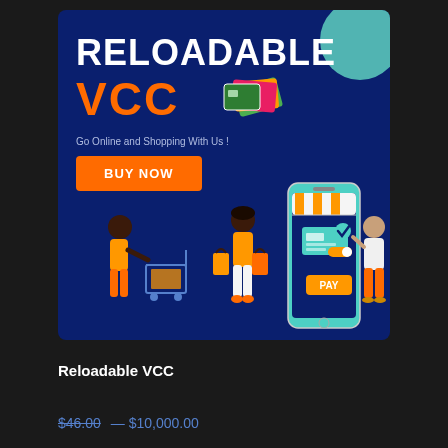[Figure (illustration): Promotional banner for Reloadable VCC (Virtual Credit Card) product on dark blue background. Shows large white bold text 'RELOADABLE' and orange bold text 'VCC' with colorful card icons, tagline 'Go Online and Shopping With Us !', orange 'BUY NOW' button, and illustrated figures: person with shopping cart, woman with shopping bags, large smartphone with storefront/pay interface, and man standing beside it. Teal circle accent in top-right corner.]
Reloadable VCC
$46.00 — $10,000.00